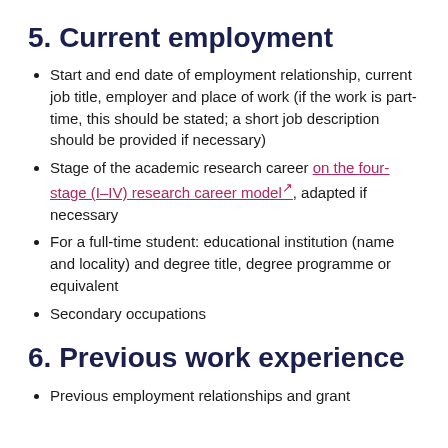5. Current employment
Start and end date of employment relationship, current job title, employer and place of work (if the work is part-time, this should be stated; a short job description should be provided if necessary)
Stage of the academic research career on the four-stage (I–IV) research career model, adapted if necessary
For a full-time student: educational institution (name and locality) and degree title, degree programme or equivalent
Secondary occupations
6. Previous work experience
Previous employment relationships and grant